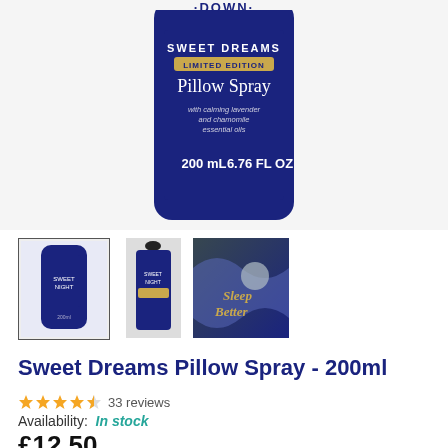[Figure (photo): Main product image of Sweet Dreams Pillow Spray bottle (dark navy blue, 200mL) shown cropped at the top, with text SWEET DREAMS LIMITED EDITION Pillow Spray with calming lavender and chamomile essential oils 200 mL 6.76 FL OZ]
[Figure (photo): Three product thumbnail images: first shows the full pillow spray bottle (selected, with border), second shows a smaller dark hanging tag version of the product, third shows a promotional image with blue silky fabric and a woman sleeping with text Sleep Better in gold script]
Sweet Dreams Pillow Spray - 200ml
★★★★½ 33 reviews
Availability: In stock
£12.50